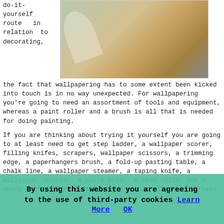do-it-yourself route in relation to decorating, the fact that wallpapering has to some extent been kicked into touch is in no way unexpected. For wallpapering you're going to need an assortment of tools and equipment, whereas a paint roller and a brush is all that is needed for doing painting.
[Figure (photo): Rolled wallpaper sheets on a wooden surface with tools]
If you are thinking about trying it yourself you are going to at least need to get step ladder, a wallpaper scorer, filling knifes, scrapers, wallpaper scissors, a trimming edge, a paperhangers brush, a fold-up pasting table, a chalk line, a wallpaper steamer, a taping knife, a wallpaper smoother, a paste brush, a seam roller and a sharp knife. If this discourages you at all, then perhaps you should look at calling in a seasoned Thrapston wallpapering specialist.
[Figure (photo): Person working on wallpapering near a wall]
Locating someone who's
By using this website you are agreeing to the use of third-party cookies Learn More OK